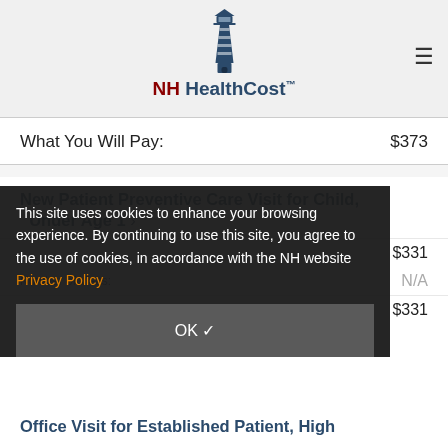NH HealthCost
What You Will Pay: $373
New Patient Preventive Care Visit for Child, Under Age 1 >
This site uses cookies to enhance your browsing experience. By continuing to use this site, you agree to the use of cookies, in accordance with the NH website Privacy Policy
OK ✓
Number of Visits: N/A
What You Will Pay: $331
$331
Office Visit for Established Patient, High